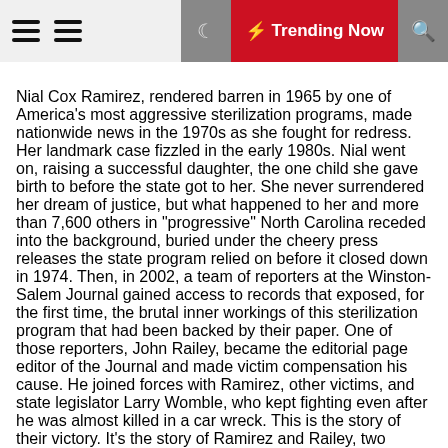≡ ≡  🌙  ⚡ Trending Now  🔍
Nial Cox Ramirez, rendered barren in 1965 by one of America's most aggressive sterilization programs, made nationwide news in the 1970s as she fought for redress. Her landmark case fizzled in the early 1980s. Nial went on, raising a successful daughter, the one child she gave birth to before the state got to her. She never surrendered her dream of justice, but what happened to her and more than 7,600 others in "progressive" North Carolina receded into the background, buried under the cheery press releases the state program relied on before it closed down in 1974. Then, in 2002, a team of reporters at the Winston-Salem Journal gained access to records that exposed, for the first time, the brutal inner workings of this sterilization program that had been backed by their paper. One of those reporters, John Railey, became the editorial page editor of the Journal and made victim compensation his cause. He joined forces with Ramirez, other victims, and state legislator Larry Womble, who kept fighting even after he was almost killed in a car wreck. This is the story of their victory. It's the story of Ramirez and Railey, two unlikely friends joined forever on a faith-based justice journey.